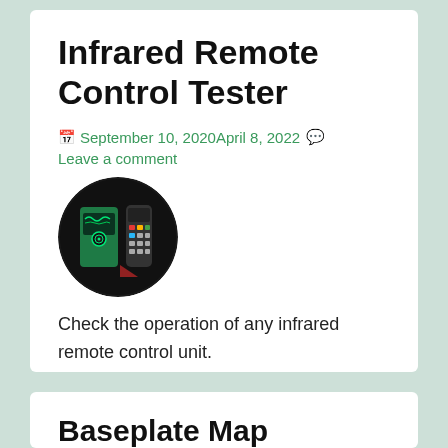Infrared Remote Control Tester
September 10, 2020April 8, 2022  Leave a comment
[Figure (illustration): Circular thumbnail image showing an infrared remote control tester app or device interface on a dark background with green and colorful elements]
Check the operation of any infrared remote control unit.
Baseplate Map